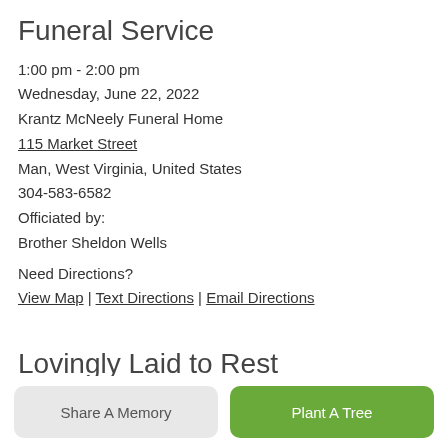Funeral Service
1:00 pm - 2:00 pm
Wednesday, June 22, 2022
Krantz McNeely Funeral Home
115 Market Street
Man, West Virginia, United States
304-583-6582
Officiated by:
Brother Sheldon Wells
Need Directions?
View Map | Text Directions | Email Directions
Lovingly Laid to Rest
2:30 pm - 3:00 pm
Wednesday, June 22, 2022
Share A Memory
Plant A Tree